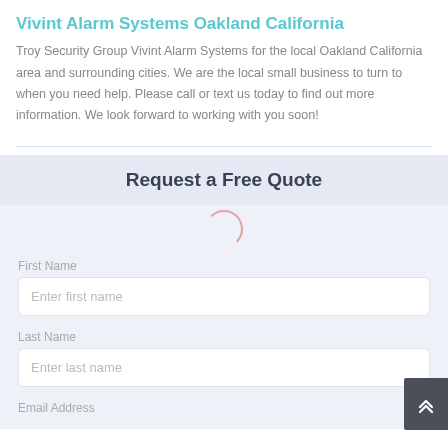Vivint Alarm Systems Oakland California
Troy Security Group Vivint Alarm Systems for the local Oakland California area and surrounding cities. We are the local small business to turn to when you need help. Please call or text us today to find out more information. We look forward to working with you soon!
Request a Free Quote
First Name
Enter first name
Last Name
Enter last name
Email Address